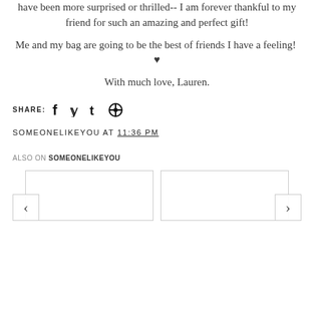have been more surprised or thrilled-- I am forever thankful to my friend for such an amazing and perfect gift!
Me and my bag are going to be the best of friends I have a feeling!  ♥
With much love, Lauren.
SHARE: [facebook] [twitter] [tumblr] [pinterest]
SOMEONELIKEYOU AT 11:36 PM
ALSO ON SOMEONELIKEYOU
[Figure (other): Two related post cards with navigation arrows (left chevron and right chevron)]